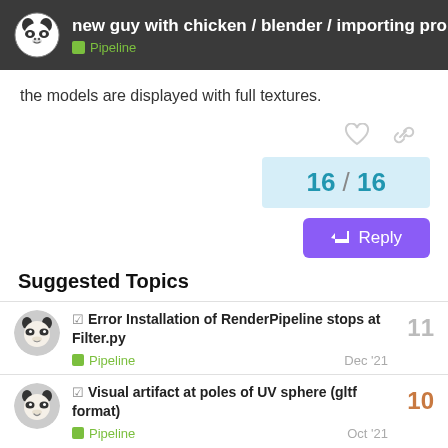new guy with chicken / blender / importing pro... | Pipeline
the models are displayed with full textures.
16 / 16
Reply
Suggested Topics
Error Installation of RenderPipeline stops at Filter.py | Pipeline | Dec '21 | 11
Visual artifact at poles of UV sphere (gltf format) | Pipeline | Oct '21 | 10